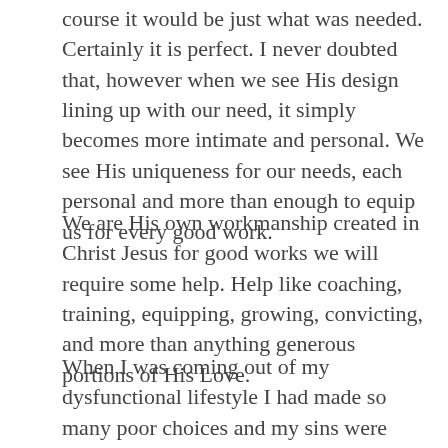course it would be just what was needed. Certainly it is perfect. I never doubted that, however when we see His design lining up with our need, it simply becomes more intimate and personal. We see His uniqueness for our needs, each personal and more than enough to equip us for every good work.
We are His own workmanship created in Christ Jesus for good works we will require some help. Help like coaching, training, equipping, growing, convicting, and more than anything generous portions of His Love.
When I was coming out of my dysfunctional lifestyle I had made so many poor choices and my sins were great. I was ashamed that what I thought would work had failed, and failed miserably. I was left with a mess to clean up. I had violated my own conscience and was broken beyond human repair… but God!